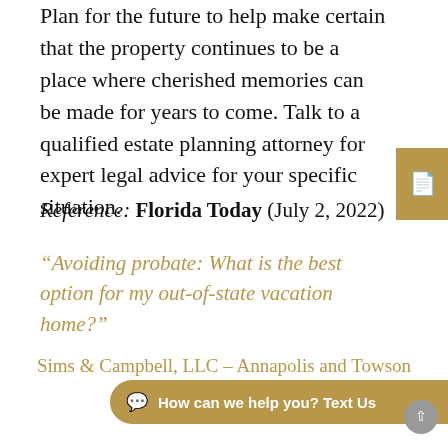Plan for the future to help make certain that the property continues to be a place where cherished memories can be made for years to come. Talk to a qualified estate planning attorney for expert legal advice for your specific situation.
Reference: Florida Today (July 2, 2022)
“Avoiding probate: What is the best option for my out-of-state vacation home?”
Sims & Campbell, LLC – Annapolis and Towson Estate